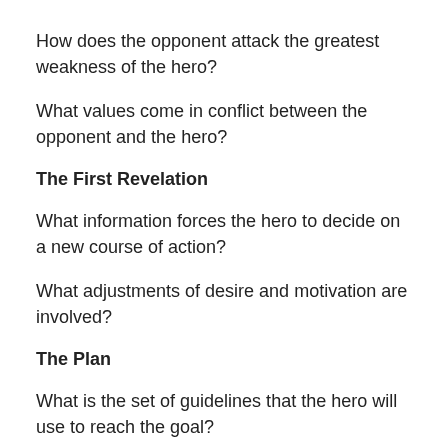How does the opponent attack the greatest weakness of the hero?
What values come in conflict between the opponent and the hero?
The First Revelation
What information forces the hero to decide on a new course of action?
What adjustments of desire and motivation are involved?
The Plan
What is the set of guidelines that the hero will use to reach the goal?